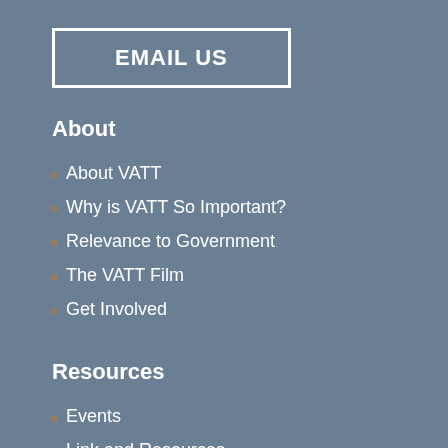EMAIL US
About
About VATT
Why is VATT So Important?
Relevance to Government
The VATT Film
Get Involved
Resources
Events
Link and Resources
Sitemap